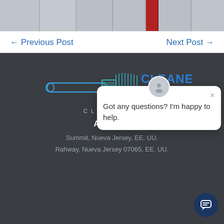[Figure (photo): Top portion of paint brush bristles against a light gray background with one red stripe visible]
← Previous Post
Next Post →
[Figure (logo): Cleanest Painting logo with paintbrush icon and text 'CLEANEST PAINTING - PAINTING OUTSIDE THE BOX' in blue, teal, and yellow on dark background]
CLEANEST
Address:
Summit, Nueva Jersey, EE. UU.
Rahway, Nueva Jersey 07065, EE. UU.
[Figure (screenshot): Chat popup widget with avatar icon, close X button, and message: Got any questions? I'm happy to help.]